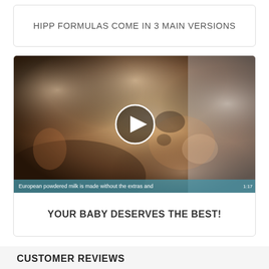HIPP FORMULAS COME IN 3 MAIN VERSIONS
[Figure (photo): Video thumbnail of a laughing baby with a play button overlay. Subtitle bar reads: 'European powdered milk is made without the extras and']
YOUR BABY DESERVES THE BEST!
CUSTOMER REVIEWS
☆☆☆☆☆  Be the first to write a review